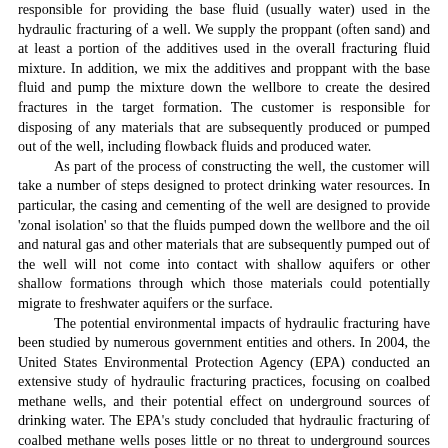responsible for providing the base fluid (usually water) used in the hydraulic fracturing of a well. We supply the proppant (often sand) and at least a portion of the additives used in the overall fracturing fluid mixture. In addition, we mix the additives and proppant with the base fluid and pump the mixture down the wellbore to create the desired fractures in the target formation. The customer is responsible for disposing of any materials that are subsequently produced or pumped out of the well, including flowback fluids and produced water.
As part of the process of constructing the well, the customer will take a number of steps designed to protect drinking water resources. In particular, the casing and cementing of the well are designed to provide 'zonal isolation' so that the fluids pumped down the wellbore and the oil and natural gas and other materials that are subsequently pumped out of the well will not come into contact with shallow aquifers or other shallow formations through which those materials could potentially migrate to freshwater aquifers or the surface.
The potential environmental impacts of hydraulic fracturing have been studied by numerous government entities and others. In 2004, the United States Environmental Protection Agency (EPA) conducted an extensive study of hydraulic fracturing practices, focusing on coalbed methane wells, and their potential effect on underground sources of drinking water. The EPA's study concluded that hydraulic fracturing of coalbed methane wells poses little or no threat to underground sources of drinking water. At the request of Congress, the EPA is currently undertaking another study of the relationship between hydraulic fracturing and drinking water resources that will focus on the fracturing of shale natural gas wells.
We have made detailed information regarding our fracturing fluid composition and breakdown available on our internet web site at www.halliburton.com. We also have proactively developed processes to provide our customers with the chemical constituents of our hydraulic fracturing fluids to enable our customers to comply with state laws as well as voluntary standards